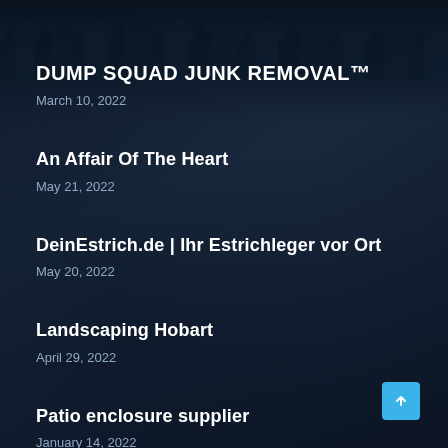DUMP SQUAD JUNK REMOVAL™
March 10, 2022
An Affair Of The Heart
May 21, 2022
DeinEstrich.de | Ihr Estrichleger vor Ort
May 20, 2022
Landscaping Hobart
April 29, 2022
Patio enclosure supplier
January 14, 2022